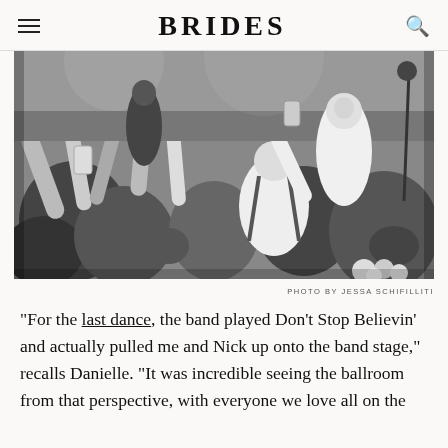BRIDES
[Figure (photo): Black and white wedding reception photo showing guests and the couple dancing energetically, with hands raised, phones held up, and a live band on stage in the background. Photo by Jessa Schifilliti.]
PHOTO BY JESSA SCHIFILLITI
"For the last dance, the band played Don’t Stop Believin’ and actually pulled me and Nick up onto the band stage," recalls Danielle. "It was incredible seeing the ballroom from that perspective, with everyone we love all on the